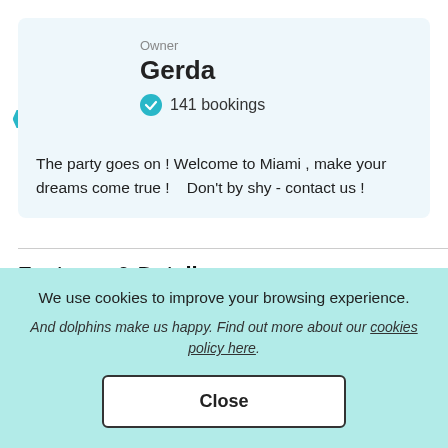[Figure (photo): Owner profile photo of Gerda in a circular avatar with a 'Best of 2021' badge below]
Owner
Gerda
✓ 141 bookings
The party goes on ! Welcome to Miami , make your dreams come true !   Don't by shy - contact us !
Features & Details
Length
Year
We use cookies to improve your browsing experience.
And dolphins make us happy. Find out more about our cookies policy here.
Close